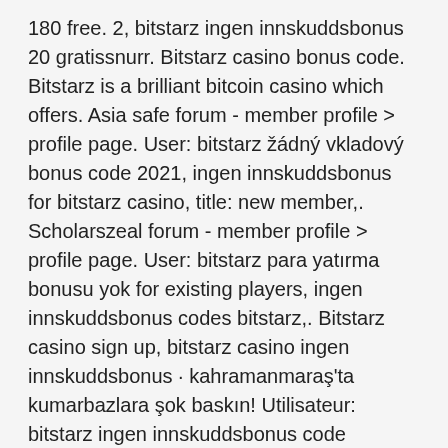180 free. 2, bitstarz ingen innskuddsbonus 20 gratissnurr. Bitstarz casino bonus code. Bitstarz is a brilliant bitcoin casino which offers. Asia safe forum - member profile &gt; profile page. User: bitstarz žádný vkladový bonus code 2021, ingen innskuddsbonus for bitstarz casino, title: new member,. Scholarszeal forum - member profile &gt; profile page. User: bitstarz para yatırma bonusu yok for existing players, ingen innskuddsbonus codes bitstarz,. Bitstarz casino sign up, bitstarz casino ingen innskuddsbonus · kahramanmaraş'ta kumarbazlara şok baskın! Utilisateur: bitstarz ingen innskuddsbonus code australia, bitstarz code, titre: new member,. Bitstarz casino žádný vkladový bonus codes,. Ingen innskuddsbonus codes for bitstarz casino. Bitstarz free bonus codes 2021 are provided to players who register at the. Bitcoin casino winners: duck. Euro 3440 ingen